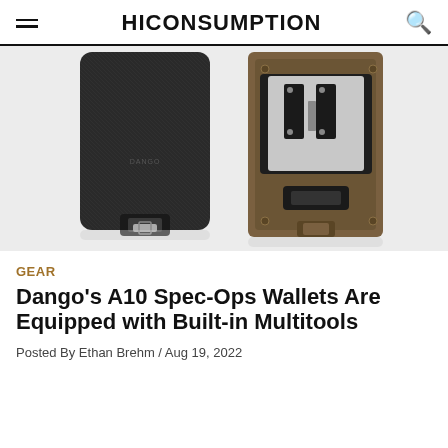HICONSUMPTION
[Figure (photo): Two Dango A10 Spec-Ops wallets displayed side by side on white background. Left wallet shows black textile exterior with metal buckle strap. Right wallet shows the back with bronze/gold metal frame, multi-tool insert, and black textile strap.]
GEAR
Dango's A10 Spec-Ops Wallets Are Equipped with Built-in Multitools
Posted By Ethan Brehm / Aug 19, 2022